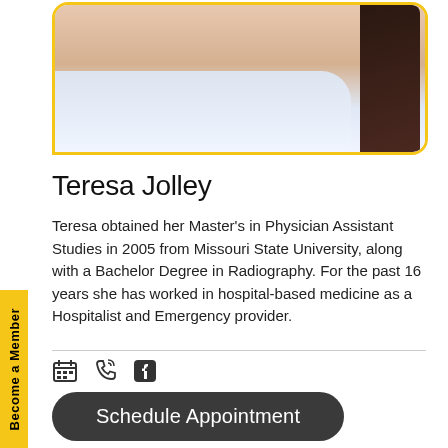[Figure (photo): Portrait photo of Teresa Jolley, a woman in a white medical coat with long dark hair, shown from shoulders up, inside a rounded rectangle frame with a yellow/gold border.]
Teresa Jolley
Teresa obtained her Master's in Physician Assistant Studies in 2005 from Missouri State University, along with a Bachelor Degree in Radiography. For the past 16 years she has worked in hospital-based medicine as a Hospitalist and Emergency provider.
[Figure (infographic): Row of three icons: a calendar icon, a phone/call icon, and a Facebook icon.]
Schedule Appointment
Become a Member